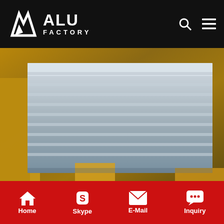ALU FACTORY
[Figure (photo): Aluminum chequered plates packaged with brown paper/cardboard wrapping, showing metallic silver ribbed surface]
5 bar aluminum chequered plate - alibaba.com
About products and suppliersAlibaba.com offers a wide range of. 5 bar aluminum chequered plate which are designed to be multipurpose, and fit for serving all your needs. These. 5 bar aluminum chequered plate offer various uses because of their many features that make them very essential for everyday use, across different industries..5 bar aluminum chequered plate are vital for use in
Home  Skype  E-Mail  Inquiry